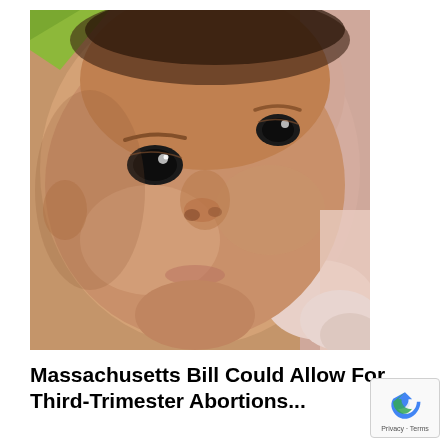[Figure (photo): Close-up photograph of a newborn baby's face looking upward, lying on a light pink surface. The baby has dark eyes and is wearing a yellow garment visible at the top.]
Massachusetts Bill Could Allow For Third-Trimester Abortions...